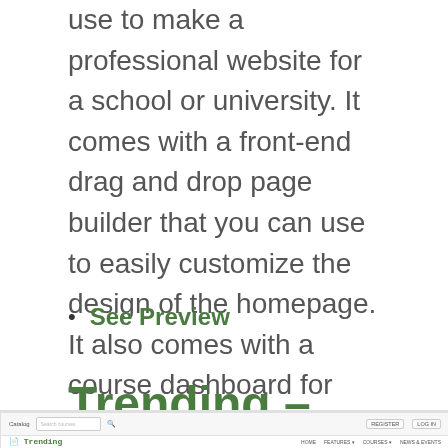use to make a professional website for a school or university. It comes with a front-end drag and drop page builder that you can use to easily customize the design of the homepage. It also comes with a course dashboard for students to keep track of their in-progress programs.
See Preview
Trending – Responsive Moodle Theme
[Figure (screenshot): Screenshot of the Trending Moodle theme website interface showing a navigation bar with Catalog search, Register and Log In buttons, and the Trending logo with navigation links HOME, FEATURES, COURSES, NEWS & EVENTS]